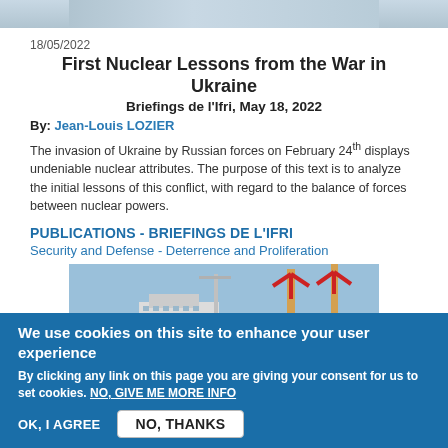[Figure (photo): Top cropped image strip, appears to be a gray/blue landscape or scene]
18/05/2022
First Nuclear Lessons from the War in Ukraine
Briefings de l'Ifri, May 18, 2022
By: Jean-Louis LOZIER
The invasion of Ukraine by Russian forces on February 24th displays undeniable nuclear attributes. The purpose of this text is to analyze the initial lessons of this conflict, with regard to the balance of forces between nuclear powers.
PUBLICATIONS - BRIEFINGS DE L'IFRI
Security and Defense - Deterrence and Proliferation
[Figure (photo): Photo of an offshore wind turbine installation vessel at sea with large wind turbines visible]
We use cookies on this site to enhance your user experience
By clicking any link on this page you are giving your consent for us to set cookies. NO, GIVE ME MORE INFO
OK, I AGREE
NO, THANKS